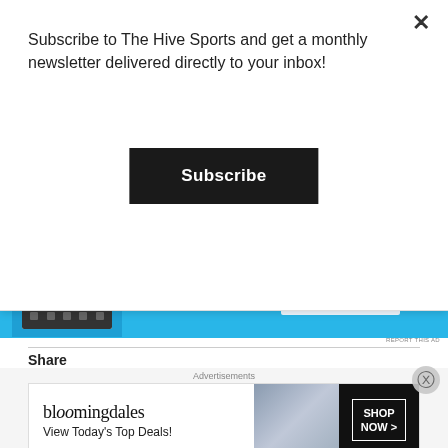Subscribe to The Hive Sports and get a monthly newsletter delivered directly to your inbox!
Subscribe
[Figure (screenshot): App advertisement banner with blue background showing a mobile app screenshot and 'Get the app' button]
REPORT THIS AD
Share
[Figure (infographic): Share buttons: Twitter (blue circle), Facebook (blue circle), Email (grey circle), and More button]
Like this:
[Figure (infographic): Like button with star icon and a thumbnail image]
Advertisements
[Figure (infographic): Bloomingdales advertisement: 'bloomingdales - View Today's Top Deals!' with SHOP NOW button and model photo]